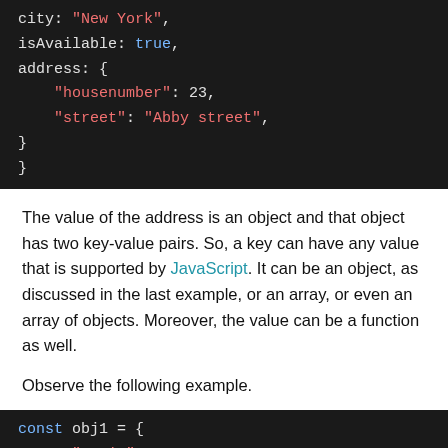[Figure (screenshot): Dark-themed code block showing JSON/JS object with city, isAvailable, and address keys. city: "New York", isAvailable: true, address: { "housenumber": 23, "street": "Abby street", } }]
The value of the address is an object and that object has two key-value pairs. So, a key can have any value that is supported by JavaScript. It can be an object, as discussed in the last example, or an array, or even an array of objects. Moreover, the value can be a function as well.
Observe the following example.
[Figure (screenshot): Dark-themed code block showing: const obj1 = { name: "Lewis",]